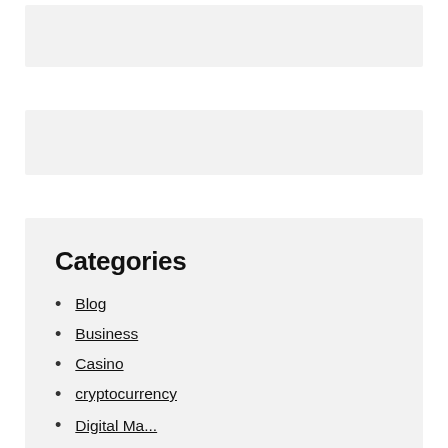[Figure (other): Gray banner placeholder at top]
[Figure (other): Gray banner placeholder in middle]
Categories
Blog
Business
Casino
cryptocurrency
Digital Marketing (partial, cut off)